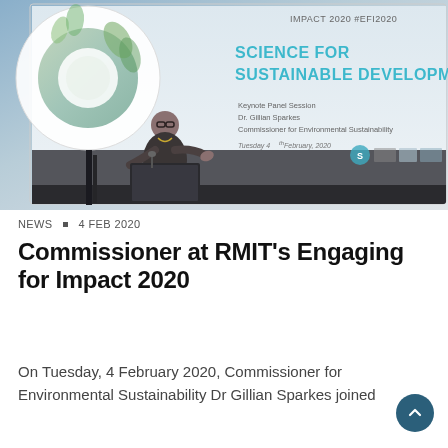[Figure (photo): Photo of a woman speaking at a podium at a conference. Behind her is a large projected screen showing 'SCIENCE FOR SUSTAINABLE DEVELOPMENT - Keynote Panel Session, Dr. Gillian Sparkes, Commissioner for Environmental Sustainability, Tuesday 4th February, 2020' with hashtag #EFI2020. A circular logo graphic is visible on the left of the screen.]
NEWS • 4 FEB 2020
Commissioner at RMIT's Engaging for Impact 2020
On Tuesday, 4 February 2020, Commissioner for Environmental Sustainability Dr Gillian Sparkes joined